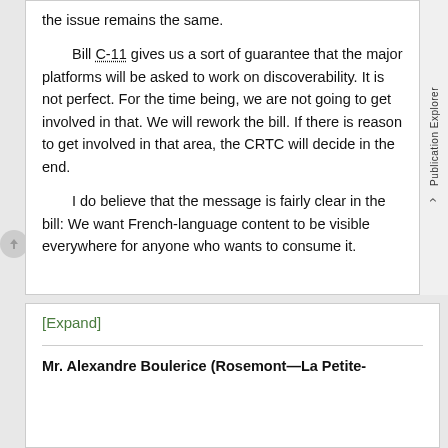the issue remains the same.
Bill C-11 gives us a sort of guarantee that the major platforms will be asked to work on discoverability. It is not perfect. For the time being, we are not going to get involved in that. We will rework the bill. If there is reason to get involved in that area, the CRTC will decide in the end.
I do believe that the message is fairly clear in the bill: We want French-language content to be visible everywhere for anyone who wants to consume it.
[Expand]
Mr. Alexandre Boulerice (Rosemont—La Petite-